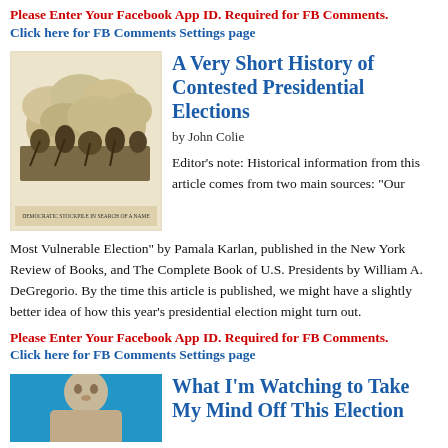Please Enter Your Facebook App ID. Required for FB Comments.
Click here for FB Comments Settings page
A Very Short History of Contested Presidential Elections
by John Colie
[Figure (illustration): Historical illustration showing a chaotic battle or crowd scene, appears to be a 19th century engraving with text at the bottom]
Editor’s note: Historical information from this article comes from two main sources: “Our Most Vulnerable Election” by Pamala Karlan, published in the New York Review of Books, and The Complete Book of U.S. Presidents by William A. DeGregorio. By the time this article is published, we might have a slightly better idea of how this year’s presidential election might turn out.
Please Enter Your Facebook App ID. Required for FB Comments.
Click here for FB Comments Settings page
What I’m Watching to Take My Mind Off This Election
[Figure (photo): Photo of a person against a blue background, cropped at bottom of page]